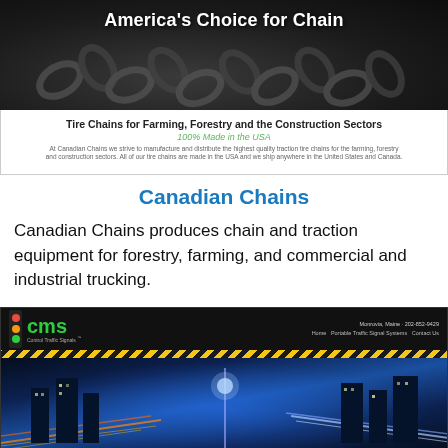[Figure (screenshot): Screenshot of Canadian Chains website header showing 'America's Choice for Chain' title over a dark background with chain imagery]
[Figure (screenshot): Screenshot of Canadian Chains website content area showing 'Tire Chains for Farming, Forestry and the Construction Sectors', '100% Made in the USA' in green, and body text]
Canadian Chains
Canadian Chains produces chain and traction equipment for forestry, farming, and commercial and industrial trucking.
[Figure (screenshot): Screenshot of CMS (Control Traffic Signals) website header with logo, navigation links (Home, Portable Traffic Signal Systems, Contact Us), location info (Monrovia, Maine + 202-852-9429), yellow hazard stripe, and city night scene with light trails]